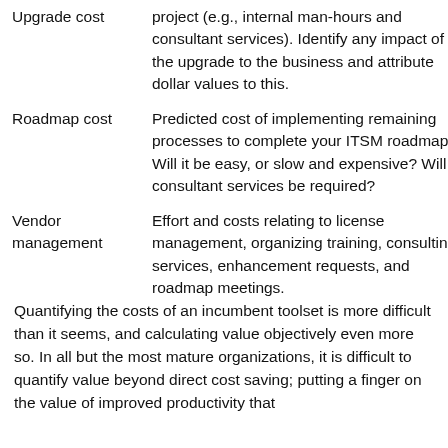| Upgrade cost | project (e.g., internal man-hours and consultant services). Identify any impact of the upgrade to the business and attribute dollar values to this. |
| Roadmap cost | Predicted cost of implementing remaining processes to complete your ITSM roadmap. Will it be easy, or slow and expensive? Will consultant services be required? |
| Vendor management | Effort and costs relating to license management, organizing training, consulting services, enhancement requests, and roadmap meetings. |
Quantifying the costs of an incumbent toolset is more difficult than it seems, and calculating value objectively even more so. In all but the most mature organizations, it is difficult to quantify value beyond direct cost saving; putting a finger on the value of improved productivity that